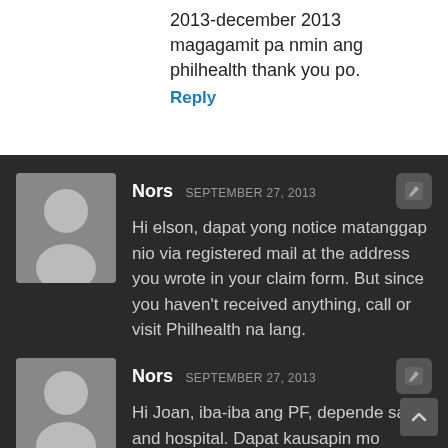2013-december 2013 magagamit pa nmin ang philhealth thank you po.
Reply
Nors SEPTEMBER 27, 2013
Hi elson, dapat yong notice matanggap nio via registered mail at the address you wrote in your claim form. But since you haven't received anything, call or visit Philhealth na lang.
Reply
Nors SEPTEMBER 27, 2013
Hi Joan, iba-iba ang PF, depende sa ob and hospital. Dapat kausapin mo beforehand ang OB about her PF